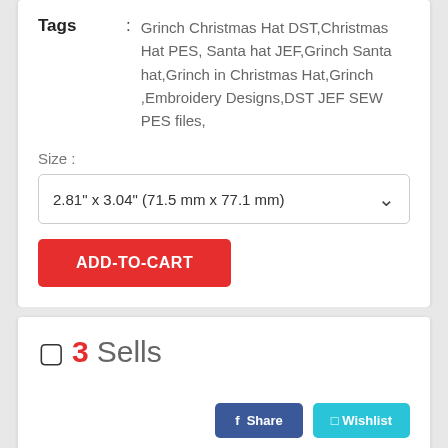Tags : Grinch Christmas Hat DST,Christmas Hat PES, Santa hat JEF,Grinch Santa hat,Grinch in Christmas Hat,Grinch ,Embroidery Designs,DST JEF SEW PES files,
Size :
2.81" x 3.04" (71.5 mm x 77.1 mm)
ADD-TO-CART
3 Sells
Share
Wishlist